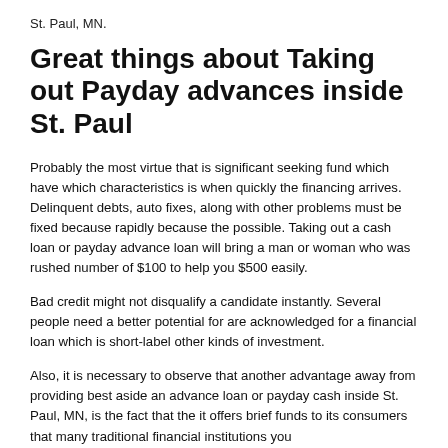St. Paul, MN.
Great things about Taking out Payday advances inside St. Paul
Probably the most virtue that is significant seeking fund which have which characteristics is when quickly the financing arrives. Delinquent debts, auto fixes, along with other problems must be fixed because rapidly because the possible. Taking out a cash loan or payday advance loan will bring a man or woman who was rushed number of $100 to help you $500 easily.
Bad credit might not disqualify a candidate instantly. Several people need a better potential for are acknowledged for a financial loan which is short-label other kinds of investment.
Also, it is necessary to observe that another advantage away from providing best aside an advance loan or payday cash inside St. Paul, MN, is the fact that the it offers brief funds to its consumers that many traditional financial institutions you